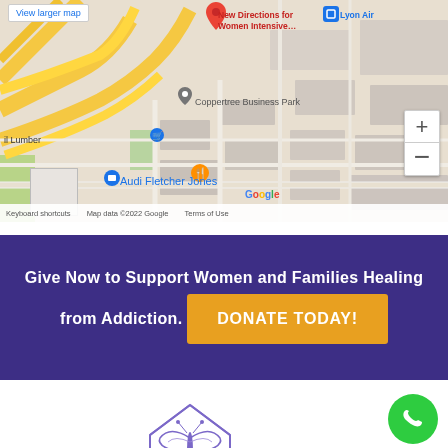[Figure (map): Google Maps screenshot showing area near New Directions for Women Intensive, Coppertree Business Park, Audi Fletcher Jones, with zoom controls and map attribution]
Give Now to Support Women and Families Healing from Addiction.
DONATE TODAY!
[Figure (logo): New Directions for Women logo with butterfly and house outline illustration in purple]
[Figure (other): Green circular phone/call button]